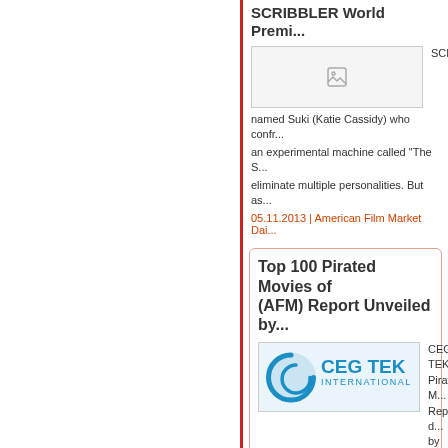SCRIBBLER World Premi...
[Figure (photo): Small image placeholder for Scribbler article]
SCRIBBL... named Suki (Katie Cassidy) who confr... an experimental machine called "The S... eliminate multiple personalities. But as...
05.11.2013 | American Film Market Dai...
Top 100 Pirated Movies of (AFM) Report Unveiled by...
[Figure (logo): CEG TEK International logo — blue circular icon with letter C and company name]
CEG TEK... Pirated M... Report, d... by BitTor... of AFM approaches 1 Million globally. ... discuss the findings, in-depth business... anti-piracy solutions with attendees. Th... hereto. The full report including an exp...
05.11.2013 | American Film Market Dai...
American Cinema Internat... Entertainment Universe an... Mongoose